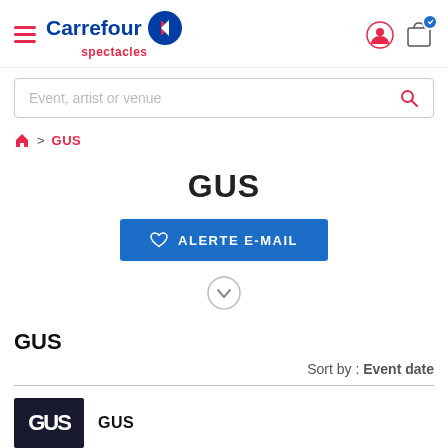[Figure (screenshot): Carrefour Spectacles website header with logo, hamburger menu, user icon, and shopping bag icon]
Event, artist or venue
🏠 > GUS
GUS
♡ ALERTE E-MAIL
GUS
Sort by : Event date
GUS